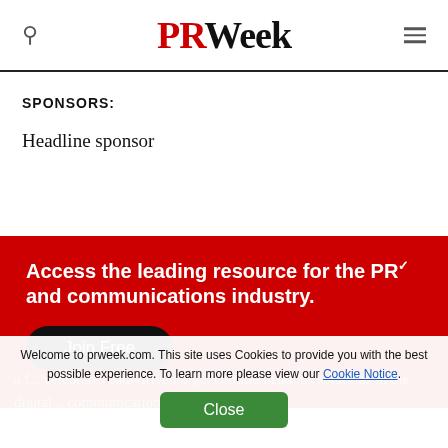PRWeek
SPONSORS:
Headline sponsor
Access the leading resource for the PR and communications industry.
Join Free
Welcome to prweek.com. This site uses Cookies to provide you with the best possible experience. To learn more please view our Cookie Notice.
Close
celebrates data-driven big... communications solutions in the digital... communications